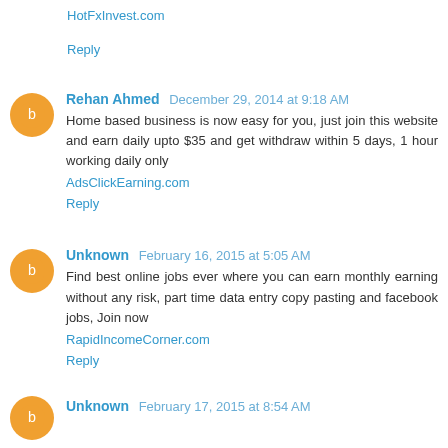HotFxInvest.com
Reply
Rehan Ahmed  December 29, 2014 at 9:18 AM
Home based business is now easy for you, just join this website and earn daily upto $35 and get withdraw within 5 days, 1 hour working daily only
AdsClickEarning.com
Reply
Unknown  February 16, 2015 at 5:05 AM
Find best online jobs ever where you can earn monthly earning without any risk, part time data entry copy pasting and facebook jobs, Join now
RapidIncomeCorner.com
Reply
Unknown  February 17, 2015 at 8:54 AM